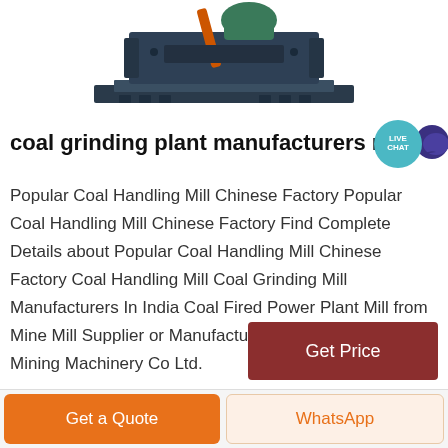[Figure (photo): Industrial coal grinding/crushing machine shown from front, dark blue/grey metallic body with orange arm and green motor on top]
coal grinding plant manufacturers nigr
Popular Coal Handling Mill Chinese Factory Popular Coal Handling Mill Chinese Factory Find Complete Details about Popular Coal Handling Mill Chinese Factory Coal Handling Mill Coal Grinding Mill Manufacturers In India Coal Fired Power Plant Mill from Mine Mill Supplier or Manufacturer Zhengzhou General Mining Machinery Co Ltd.
Get Price
Get a Quote
WhatsApp